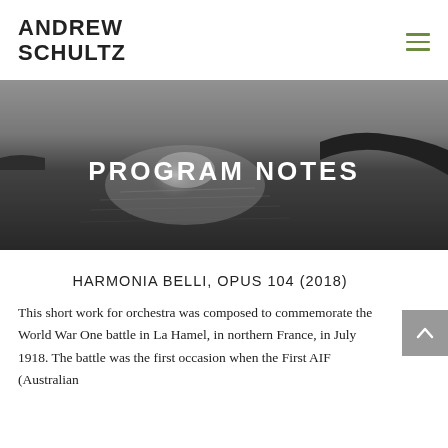ANDREW SCHULTZ
[Figure (photo): Black and white panoramic photo of a seascape with rocky headland silhouette, sunlight reflecting on calm water, with overlaid text 'PROGRAM NOTES']
HARMONIA BELLI, OPUS 104 (2018)
This short work for orchestra was composed to commemorate the World War One battle in La Hamel, in northern France, in July 1918. The battle was the first occasion when the First AIF (Australian